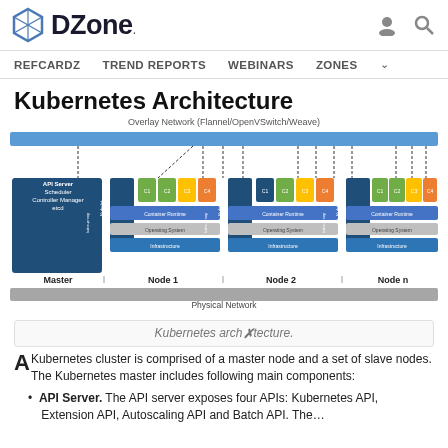DZone.
REFCARDZ  TREND REPORTS  WEBINARS  ZONES
Kubernetes Architecture
Overlay Network (Flannel/OpenVSwitch/Weave)
[Figure (engineering-diagram): Kubernetes architecture diagram showing Master node with API Server, Scheduler, Controller Manager, etcd; and multiple worker nodes (Node 1, Node 2, Node n) each with Kubelet, kube-proxy, containers (C1-C4), Container Runtime, Operating System, and Infrastructure layers. An overlay network bar runs across the top and a Physical Network bar at the bottom.]
Physical Network
Kubernetes architecture.
A Kubernetes cluster is comprised of a master node and a set of slave nodes. The Kubernetes master includes following main components:
API Server. The API server exposes four APIs: Kubernetes API, Extension API, Autoscaling API and Batch API. The…